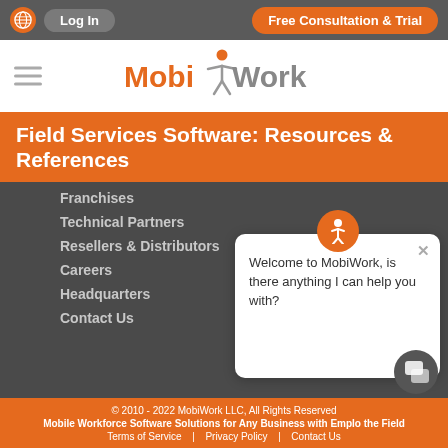Log In | Free Consultation & Trial
[Figure (logo): MobiWork logo with orange figure icon and stylized text]
Field Services Software: Resources & References
Franchises
Technical Partners
Resellers & Distributors
Careers
Headquarters
Contact Us
Welcome to MobiWork, is there anything I can help you with?
© 2010 - 2022 MobiWork LLC, All Rights Reserved
Mobile Workforce Software Solutions for Any Business with Employees in the Field
Terms of Service | Privacy Policy | Contact Us